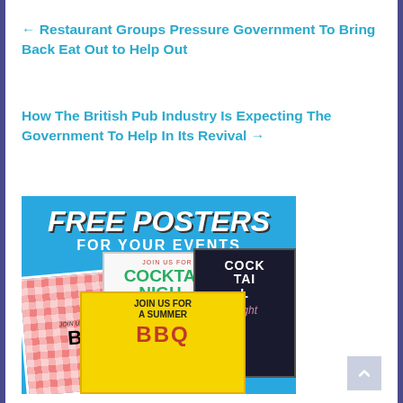← Restaurant Groups Pressure Government To Bring Back Eat Out to Help Out
How The British Pub Industry Is Expecting The Government To Help In Its Revival →
[Figure (illustration): Promotional banner image with blue background showing 'FREE POSTERS FOR YOUR EVENTS' in bold white text, with several example event posters including cocktail night posters and a summer BBQ poster.]